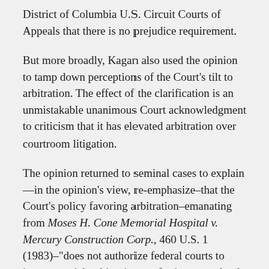District of Columbia U.S. Circuit Courts of Appeals that there is no prejudice requirement.
But more broadly, Kagan also used the opinion to tamp down perceptions of the Court's tilt to arbitration. The effect of the clarification is an unmistakable unanimous Court acknowledgment to criticism that it has elevated arbitration over courtroom litigation.
The opinion returned to seminal cases to explain—in the opinion's view, re-emphasize–that the Court's policy favoring arbitration–emanating from Moses H. Cone Memorial Hospital v. Mercury Construction Corp., 460 U.S. 1 (1983)–"does not authorize federal courts to invent special, arbitration-preferring procedural rules." Nor does it allow courts to "devise novel rules to favor arbitration over litigation," referring to Dean Witter